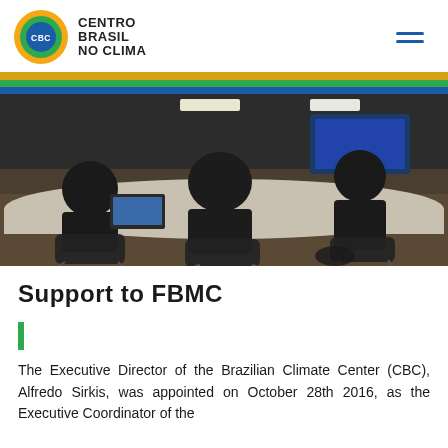CENTRO BRASIL NO CLIMA
[Figure (photo): Conference room with people seated at tables using laptops, viewed from behind, with a presentation screen visible in the background.]
Support to FBMC
The Executive Director of the Brazilian Climate Center (CBC), Alfredo Sirkis, was appointed on October 28th 2016, as the Executive Coordinator of the...